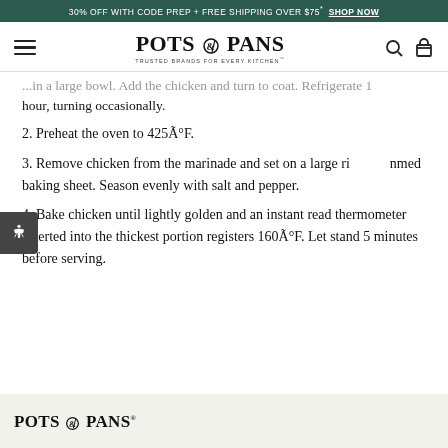30% OFF WITH CODE PREP + FREE SHIPPING OVER $75* SHOP NOW
[Figure (logo): Pots & Pans logo with hamburger menu, search, and cart icons in navigation bar]
...in a large bowl. Add the chicken and turn to coat. Refrigerate 1 hour, turning occasionally.
2. Preheat the oven to 425Ã°F.
3. Remove chicken from the marinade and set on a large rimmed baking sheet. Season evenly with salt and pepper.
4. Bake chicken until lightly golden and an instant read thermometer inserted into the thickest portion registers 160Ã°F. Let stand 5 minutes before serving.
POTS & PANS